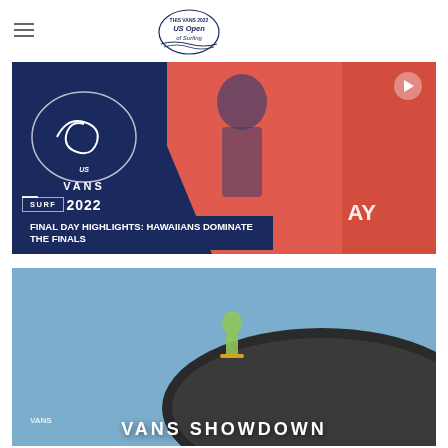Vans US Open of Surfing 2022
[Figure (photo): Hero banner: Final Day Highlights - Hawaiians Dominate The Finals. Shows surfers celebrating with coral/navy graphic overlay and US Open of Surfing 2022 Vans logo. Category badge: SURF.]
FINAL DAY HIGHLIGHTS: HAWAIIANS DOMINATE THE FINALS
[Figure (photo): Second hero banner: Vans Showdown. Shows a skateboarder on a half-pipe ramp with Vans logo visible.]
VANS SHOWDOWN